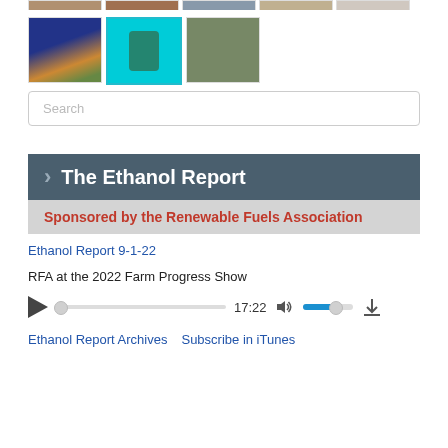[Figure (photo): Row of 5 thumbnail photos at top of page]
[Figure (photo): Row of 3 thumbnail photos: building with flag, woman on cyan background, children at table]
Search
The Ethanol Report
Sponsored by the Renewable Fuels Association
Ethanol Report 9-1-22
RFA at the 2022 Farm Progress Show
[Figure (other): Audio player with play button, progress bar showing 17:22, volume control, and download icon]
Ethanol Report Archives   Subscribe in iTunes